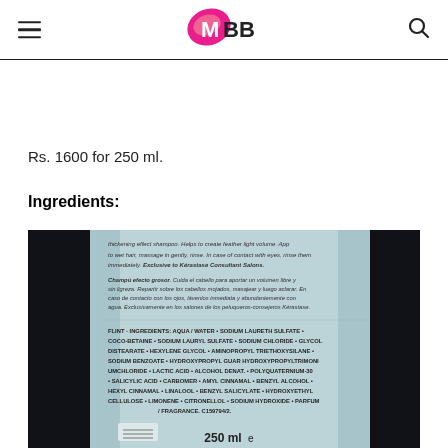IMBB logo with hamburger menu and search icon
Rs. 1600 for 250 ml.
Ingredients:
[Figure (photo): Close-up photo of the back of a Kerastase shampoo bottle showing ingredients list and usage instructions in multiple languages. Ingredients include: AQUA/WATER, SODIUM LAURETH SULFATE, COCO-BETAINE, SODIUM LAURYL SULFATE, SODIUM CHLORIDE, GLYCOL DISTEARATE, HEXYLENE GLYCOL, AMINOPROPYL TRIETHOXYSILANE, SODIUM BENZOATE, HYDROXYPROPYL GUAR HYDROXYPROPYLTRIMONIUM CHLORIDE, LACTIC ACID, ALCOHOL DENAT., POLYQUATERNIUM-30, SALICYLIC ACID, CARBOMER, AMYL CINNAMAL, BENZYL ALCOHOL, HEXYL CINNAMAL, LINALOOL, BENZYL SALICYLATE, HYDROXYETHYLCELLULOSE, LIMONENE, CITRONELLOL, SODIUM HYDROXIDE, PARFUM/FRAGRANCE. C159794/2. 250ml.]